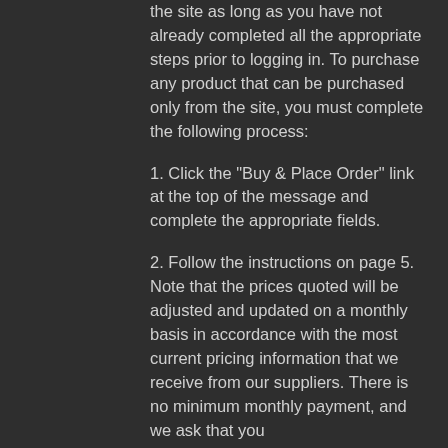the site as long as you have not already completed all the appropriate steps prior to logging in. To purchase any product that can be purchased only from the site, you must complete the following process:
1. Click the "Buy & Place Order" link at the top of the message and complete the appropriate fields.
2. Follow the instructions on page 5. Note that the prices quoted will be adjusted and updated on a monthly basis in accordance with the most current pricing information that we receive from our suppliers. There is no minimum monthly payment, and we ask that you
Related Article:
https://www.meianmaids.com/profile/juliennebarbot53106/profile
https://www.shishanaturals.com/profile/steph